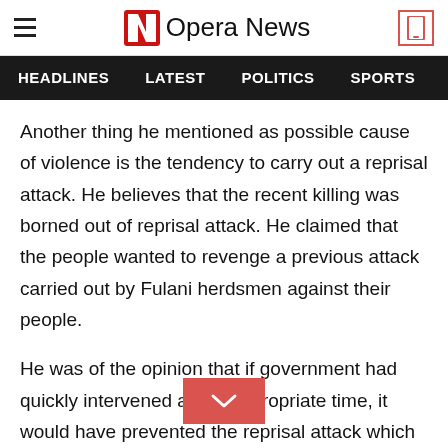Opera News
HEADLINES   LATEST   POLITICS   SPORTS
Another thing he mentioned as possible cause of violence is the tendency to carry out a reprisal attack. He believes that the recent killing was borned out of reprisal attack. He claimed that the people wanted to revenge a previous attack carried out by Fulani herdsmen against their people.
He was of the opinion that if government had quickly intervened at the appropriate time, it would have prevented the reprisal attack which led to the recent carnage.